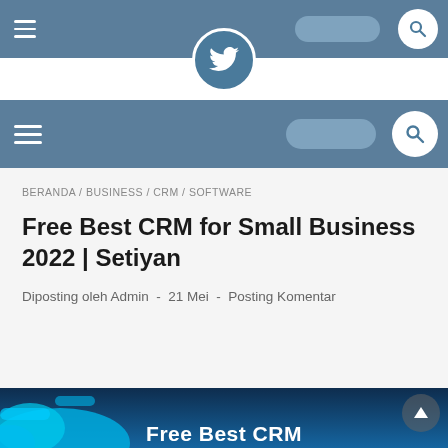Navigation bar with hamburger menu and search
Navigation bar 2 with hamburger menu and search
BERANDA / BUSINESS / CRM / SOFTWARE
Free Best CRM for Small Business 2022 | Setiyan
Diposting oleh Admin  -  21 Mei  -  Posting Komentar
[Figure (screenshot): Bottom portion showing blue CRM illustration and 'Free Best CRM' text]